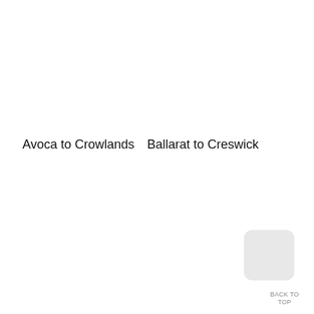Avoca to Crowlands
Ballarat to Creswick
BACK TO TOP